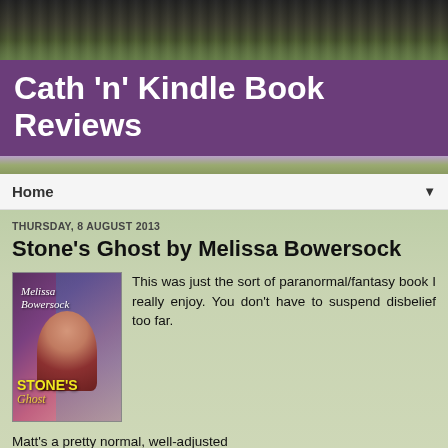[Figure (photo): Dark forest/tree canopy photo header strip]
Cath 'n' Kindle Book Reviews
[Figure (photo): Lavender/bluebell field strip]
Home
THURSDAY, 8 AUGUST 2013
Stone's Ghost by Melissa Bowersock
[Figure (photo): Book cover of Stone's Ghost by Melissa Bowersock showing a woman in a red hood with building in background]
This was just the sort of paranormal/fantasy book I really enjoy. You don't have to suspend disbelief too far.
Matt's a pretty normal, well-adjusted